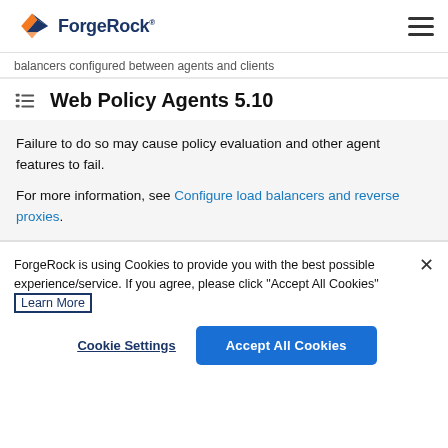ForgeRock
balancers configured between agents and clients
Web Policy Agents 5.10
Failure to do so may cause policy evaluation and other agent features to fail.
For more information, see Configure load balancers and reverse proxies.
ForgeRock is using Cookies to provide you with the best possible experience/service. If you agree, please click "Accept All Cookies" Learn More
Cookie Settings
Accept All Cookies